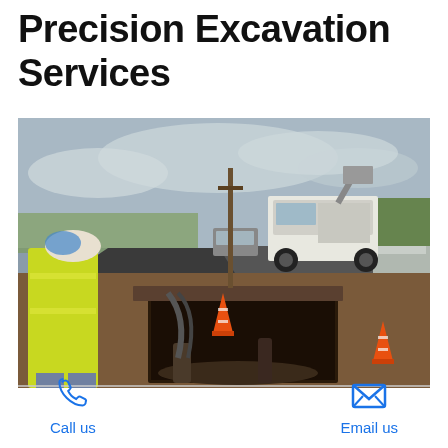Precision Excavation Services
[Figure (photo): Construction workers in high-visibility yellow vests and hard hats standing near an excavated pit in a road. A large utility truck is parked on the freshly paved road in the background. Orange traffic cones are visible on both sides of the excavation. One worker looks down into the pit from the left side, another sits on the right edge of the pit. Overcast sky and green trees visible in the background.]
Call us
Email us